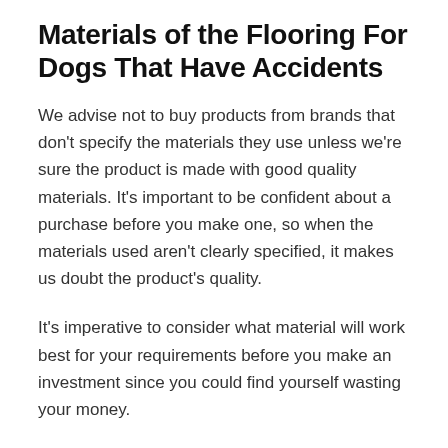Materials of the Flooring For Dogs That Have Accidents
We advise not to buy products from brands that don't specify the materials they use unless we're sure the product is made with good quality materials. It's important to be confident about a purchase before you make one, so when the materials used aren't clearly specified, it makes us doubt the product's quality.
It's imperative to consider what material will work best for your requirements before you make an investment since you could find yourself wasting your money.